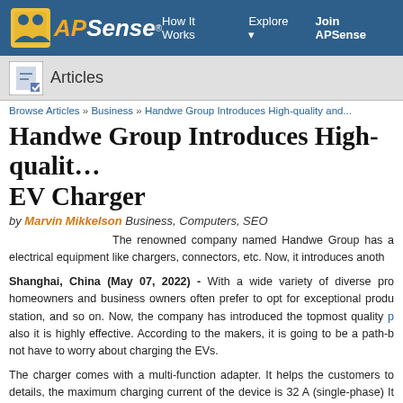APSense | How It Works | Explore | Join APSense
Articles
Browse Articles » Business » Handwe Group Introduces High-quality and...
Handwe Group Introduces High-quality EV Charger
by Marvin Mikkelson Business, Computers, SEO
The renowned company named Handwe Group has a electrical equipment like chargers, connectors, etc. Now, it introduces anoth
Shanghai, China (May 07, 2022) - With a wide variety of diverse pro homeowners and business owners often prefer to opt for exceptional produ station, and so on. Now, the company has introduced the topmost quality p also it is highly effective. According to the makers, it is going to be a path-b not have to worry about charging the EVs.
The charger comes with a multi-function adapter. It helps the customers to details, the maximum charging current of the device is 32 A (single-phase) It supplies voltages from 110V to 480V. The product also